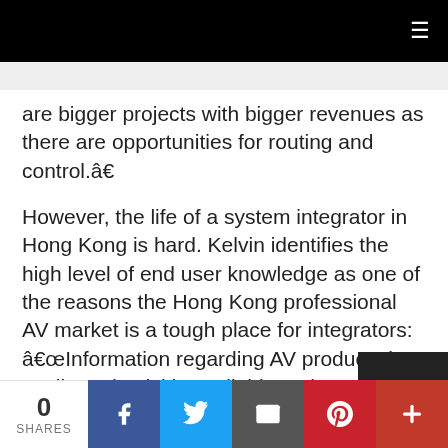Navigation bar with hamburger menu icon
are bigger projects with bigger revenues as there are opportunities for routing and control.â€
However, the life of a system integrator in Hong Kong is hard. Kelvin identifies the high level of end user knowledge as one of the reasons the Hong Kong professional AV market is a tough place for integrators: â€œInformation regarding AV products in easily and quickly available to the end users in Hong Kong. Even if you do not attend the major…
0 SHARES | Share buttons: Facebook, Twitter, Email, Pinterest, More